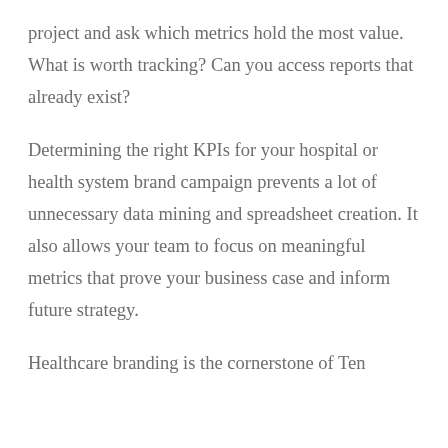project and ask which metrics hold the most value. What is worth tracking? Can you access reports that already exist?
Determining the right KPIs for your hospital or health system brand campaign prevents a lot of unnecessary data mining and spreadsheet creation. It also allows your team to focus on meaningful metrics that prove your business case and inform future strategy.
Healthcare branding is the cornerstone of Ten